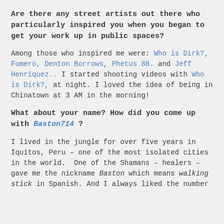Are there any street artists out there who particularly inspired you when you began to get your work up in public spaces?
Among those who inspired me were: Who is Dirk?, Fumero, Denton Borrows, Phetus 88. and Jeff Henriquez.. I started shooting videos with Who is Dirk?, at night. I loved the idea of being in Chinatown at 3 AM in the morning!
What about your name? How did you come up with Baston714 ?
I lived in the jungle for over five years in Iquitos, Peru – one of the most isolated cities in the world.  One of the Shamans – healers – gave me the nickname Baston which means walking stick in Spanish. And I always liked the number